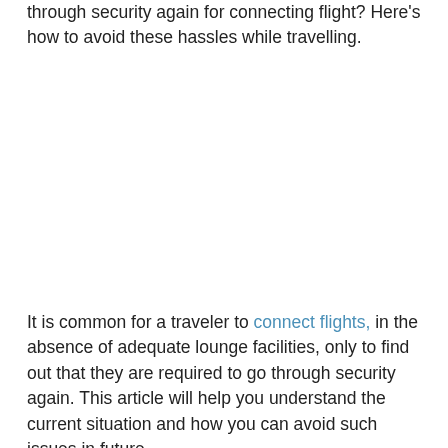through security again for connecting flight? Here's how to avoid these hassles while travelling.
It is common for a traveler to connect flights, in the absence of adequate lounge facilities, only to find out that they are required to go through security again. This article will help you understand the current situation and how you can avoid such issues in future.